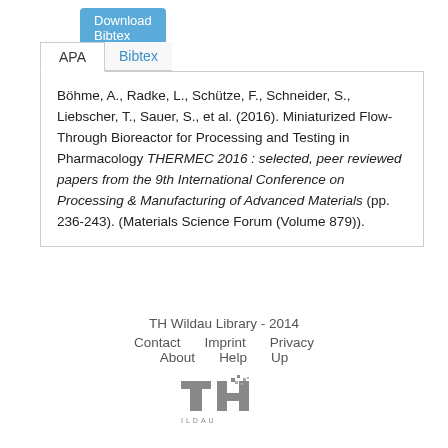Download Bibtex
APA  Bibtex
Böhme, A., Radke, L., Schütze, F., Schneider, S., Liebscher, T., Sauer, S., et al. (2016). Miniaturized Flow-Through Bioreactor for Processing and Testing in Pharmacology THERMEC 2016 : selected, peer reviewed papers from the 9th International Conference on Processing & Manufacturing of Advanced Materials (pp. 236-243). (Materials Science Forum (Volume 879)).
Search this title in Google Scholar
TH Wildau Library - 2014
Contact  Imprint  Privacy
About  Help  Up
[Figure (logo): TH Wildau institutional logo in grey]